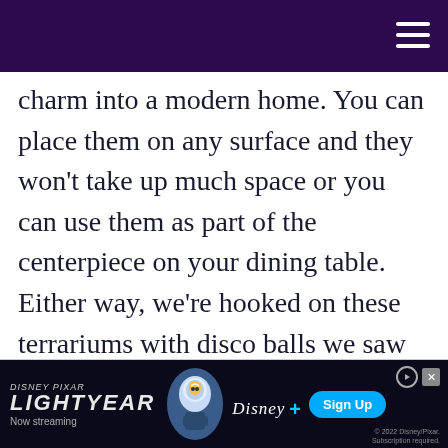charm into a modern home. You can place them on any surface and they won't take up much space or you can use them as part of the centerpiece on your dining table. Either way, we're hooked on these terrariums with disco balls we saw at Brit + Co!
[Figure (screenshot): Disney Pixar Lightyear movie advertisement banner with Buzz Lightyear character, Disney+ logo, Sign Up button, and 'Now streaming' text]